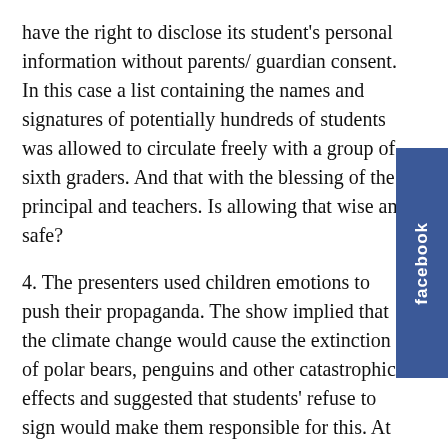have the right to disclose its student's personal information without parents/ guardian consent. In this case a list containing the names and signatures of potentially hundreds of students was allowed to circulate freely with a group of sixth graders. And that with the blessing of the principal and teachers. Is allowing that wise and safe?
4. The presenters used children emotions to push their propaganda. The show implied that the climate change would cause the extinction of polar bears, penguins and other catastrophic effects and suggested that students' refuse to sign would make them responsible for this. At one point a student asked what would happen it they didn't sign and one of the presenters answered with a grave tone: "bye-bye world." This may look unimportant for adults but making 10 year old children feel guilty for the destruction of planet is a despicable act.